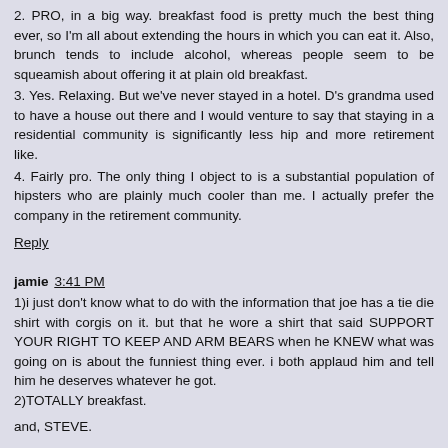2. PRO, in a big way. breakfast food is pretty much the best thing ever, so I'm all about extending the hours in which you can eat it. Also, brunch tends to include alcohol, whereas people seem to be squeamish about offering it at plain old breakfast.
3. Yes. Relaxing. But we've never stayed in a hotel. D's grandma used to have a house out there and I would venture to say that staying in a residential community is significantly less hip and more retirement like.
4. Fairly pro. The only thing I object to is a substantial population of hipsters who are plainly much cooler than me. I actually prefer the company in the retirement community.
Reply
jamie  3:41 PM
1)i just don't know what to do with the information that joe has a tie die shirt with corgis on it. but that he wore a shirt that said SUPPORT YOUR RIGHT TO KEEP AND ARM BEARS when he KNEW what was going on is about the funniest thing ever. i both applaud him and tell him he deserves whatever he got.
2)TOTALLY breakfast.
and, STEVE.
Reply